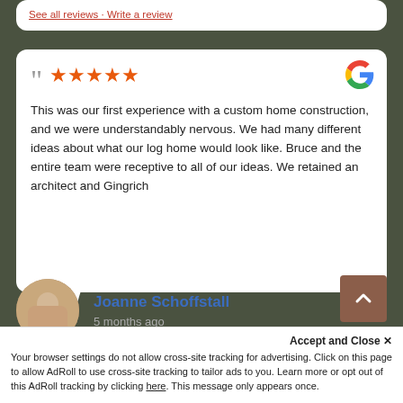See all reviews · Write a review
This was our first experience with a custom home construction, and we were understandably nervous. We had many different ideas about what our log home would look like. Bruce and the entire team were receptive to all of our ideas. We retained an architect and Gingrich
Joanne Schoffstall
5 months ago
Accept and Close ✕
Your browser settings do not allow cross-site tracking for advertising. Click on this page to allow AdRoll to use cross-site tracking to tailor ads to you. Learn more or opt out of this AdRoll tracking by clicking here. This message only appears once.